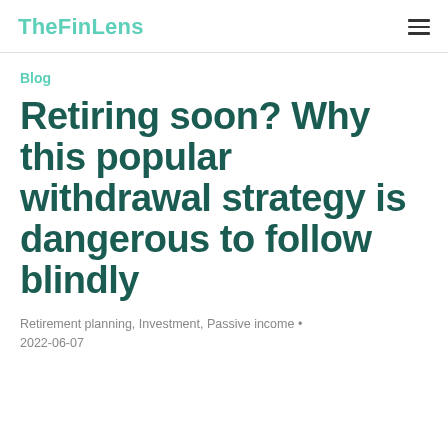TheFinLens
Blog
Retiring soon? Why this popular withdrawal strategy is dangerous to follow blindly
Retirement planning, Investment, Passive income • 2022-06-07